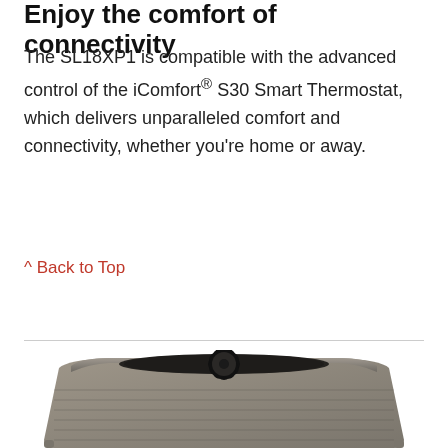Enjoy the comfort of connectivity
The SL18XP1 is compatible with the advanced control of the iComfort® S30 Smart Thermostat, which delivers unparalleled comfort and connectivity, whether you're home or away.
^ Back to Top
[Figure (photo): Lennox SL18XP1 outdoor air conditioning unit, a tan/grey boxy unit with a large circular fan on top, viewed from a slightly elevated front angle.]